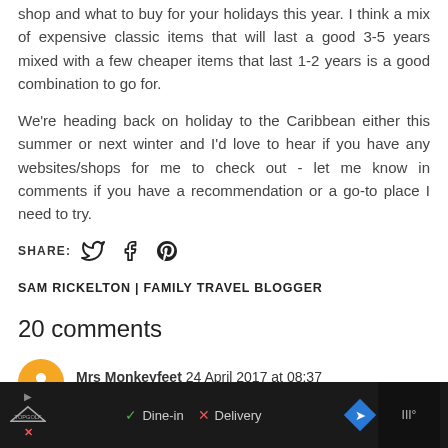shop and what to buy for your holidays this year. I think a mix of expensive classic items that will last a good 3-5 years mixed with a few cheaper items that last 1-2 years is a good combination to go for.
We're heading back on holiday to the Caribbean either this summer or next winter and I'd love to hear if you have any websites/shops for me to check out - let me know in comments if you have a recommendation or a go-to place I need to try.
SHARE: [Twitter] [Facebook] [Pinterest]
SAM RICKELTON | FAMILY TRAVEL BLOGGER
20 comments
Mrs Monkeyfeet  24 April 2017 at 08:37
[Figure (infographic): Dark advertisement bar at bottom with Topgolf logo, Dine-in and Delivery options, navigation diamond icon, and dark right panel]
layout looks